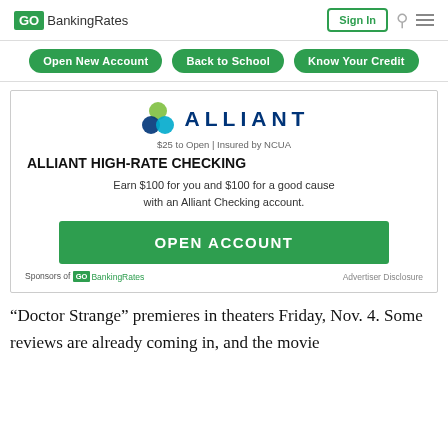GOBankingRates | Sign In
Open New Account | Back to School | Know Your Credit
[Figure (infographic): Alliant Credit Union advertisement. Shows Alliant logo with colorful circles, tagline '$25 to Open | Insured by NCUA', product name 'ALLIANT HIGH-RATE CHECKING', offer text 'Earn $100 for you and $100 for a good cause with an Alliant Checking account.', green OPEN ACCOUNT button, and footer 'Sponsors of GOBankingRates | Advertiser Disclosure'.]
“Doctor Strange” premieres in theaters Friday, Nov. 4. Some reviews are already coming in, and the movie